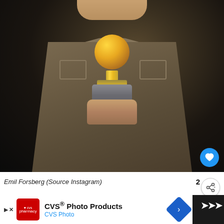[Figure (photo): A person wearing a brown corduroy jacket over a dark turtleneck, holding a Ballon d'Or style golden trophy (gold ball on silver base) with both hands against a dark background. A blue circular heart/favorite button is visible in the lower right corner of the image.]
Emil Forsberg (Source Instagram)
2
[Figure (photo): Partial second image visible at the bottom of the page, showing a cropped strip of another photo.]
CVS® Photo Products
CVS Photo